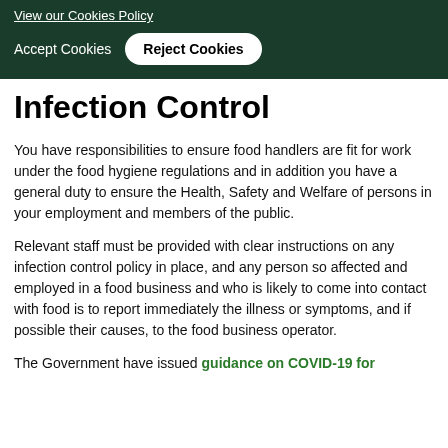View our Cookies Policy
Accept Cookies   Reject Cookies
Infection Control
You have responsibilities to ensure food handlers are fit for work under the food hygiene regulations and in addition you have a general duty to ensure the Health, Safety and Welfare of persons in your employment and members of the public.
Relevant staff must be provided with clear instructions on any infection control policy in place, and any person so affected and employed in a food business and who is likely to come into contact with food is to report immediately the illness or symptoms, and if possible their causes, to the food business operator.
The Government have issued guidance on COVID-19 for